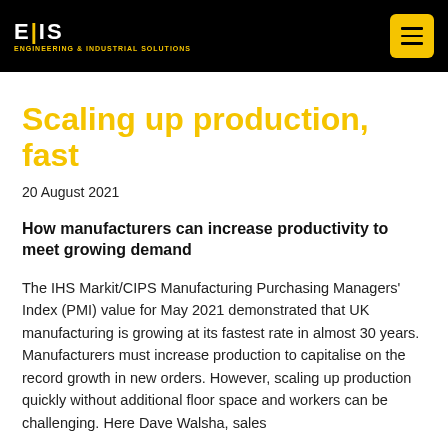EIS [logo] | [menu button]
Scaling up production, fast
20 August 2021
How manufacturers can increase productivity to meet growing demand
The IHS Markit/CIPS Manufacturing Purchasing Managers' Index (PMI) value for May 2021 demonstrated that UK manufacturing is growing at its fastest rate in almost 30 years. Manufacturers must increase production to capitalise on the record growth in new orders. However, scaling up production quickly without additional floor space and workers can be challenging. Here Dave Walsha, sales